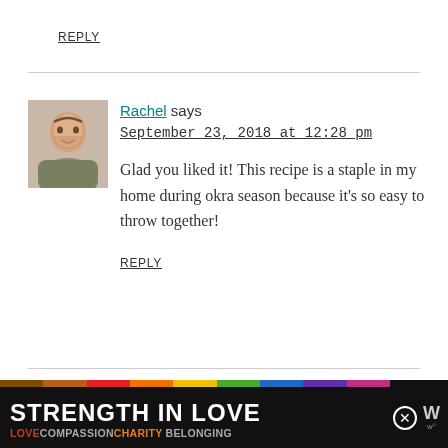REPLY
Rachel says
September 23, 2018 at 12:28 pm
Glad you liked it! This recipe is a staple in my home during okra season because it's so easy to throw together!
REPLY
[Figure (photo): Avatar photo of Rachel, a woman smiling]
Henry says
[Figure (infographic): Advertisement banner: STRENGTH IN LOVE with rainbow colors and tagline LOVE COMPASSION CHARITY BELONGING]